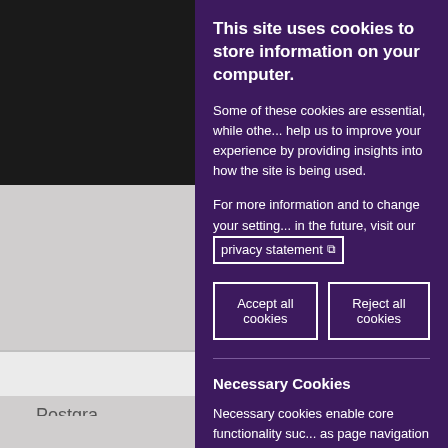[Figure (screenshot): University postgraduate page partially visible on left side, with black header bar top-left, gray sidebar showing 'Postgra...' text, PhD opportunities link, and 'Future Devel...' title with icons]
This site uses cookies to store information on your computer.
Some of these cookies are essential, while others help us to improve your experience by providing insights into how the site is being used.
For more information and to change your settings in the future, visit our privacy statement
Accept all cookies
Reject all cookies
Necessary Cookies
Necessary cookies enable core functionality such as page navigation and access to secure areas.